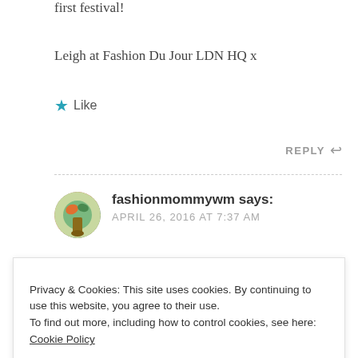first festival!
Leigh at Fashion Du Jour LDN HQ x
★ Like
REPLY ↩
fashionmommywm says:
APRIL 26, 2016 AT 7:37 AM
Privacy & Cookies: This site uses cookies. By continuing to use this website, you agree to their use.
To find out more, including how to control cookies, see here: Cookie Policy
Close and accept